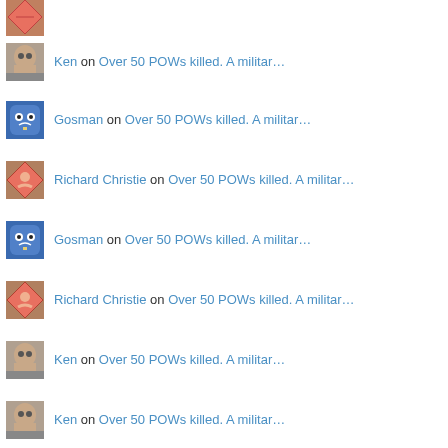Ken on Over 50 POWs killed. A militar…
Gosman on Over 50 POWs killed. A militar…
Richard Christie on Over 50 POWs killed. A militar…
Gosman on Over 50 POWs killed. A militar…
Richard Christie on Over 50 POWs killed. A militar…
Ken on Over 50 POWs killed. A militar…
Ken on Over 50 POWs killed. A militar…
Ken on Over 50 POWs killed. A militar…